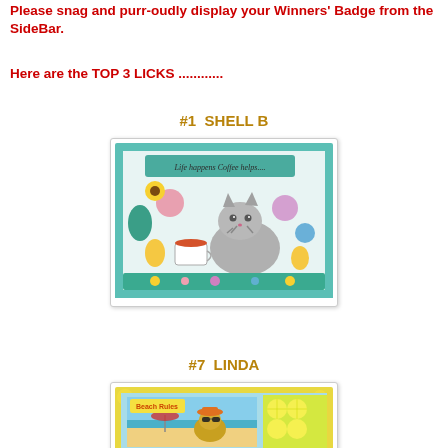Please snag and purr-oudly display your Winners' Badge from the SideBar.
Here are the TOP 3 LICKS ...........
#1  SHELL B
[Figure (photo): Handmade crafting card featuring a grey tabby cat sitting among colorful flowers with a coffee cup, teal border, text reading 'Life happens Coffee helps....']
#7  LINDA
[Figure (photo): Handmade crafting card featuring a cat wearing sunglasses at the beach with colorful lemon/citrus border, text reading 'Beach Rules']